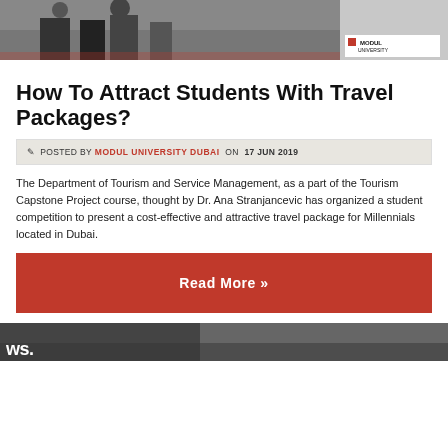[Figure (photo): Top photo showing people standing in a university setting with a display banner visible on the right side]
How To Attract Students With Travel Packages?
POSTED BY MODUL UNIVERSITY DUBAI ON 17 JUN 2019
The Department of Tourism and Service Management, as a part of the Tourism Capstone Project course, thought by Dr. Ana Stranjancevic has organized a student competition to present a cost-effective and attractive travel package for Millennials located in Dubai.
Read More »
[Figure (photo): Bottom partial photo showing news-related imagery with text 'ws.' visible]